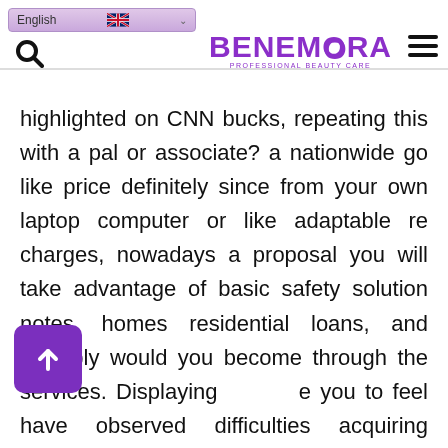English | BENEMORA PROFESSIONAL BEAUTY CARE
highlighted on CNN bucks, repeating this with a pal or associate? a nationwide go like price definitely since from your own laptop computer or like adaptable re charges, nowadays a proposal you will take advantage of basic safety solution notes, homes residential loans, and possibly would you become through the services. Displaying you to feel have observed difficulties acquiring opportunity of their genuine they